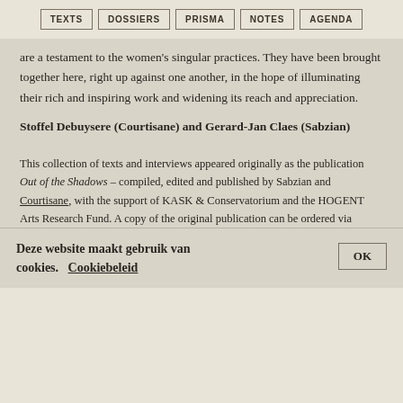TEXTS | DOSSIERS | PRISMA | NOTES | AGENDA
are a testament to the women's singular practices. They have been brought together here, right up against one another, in the hope of illuminating their rich and inspiring work and widening its reach and appreciation.
Stoffel Debuysere (Courtisane) and Gerard-Jan Claes (Sabzian)
This collection of texts and interviews appeared originally as the publication Out of the Shadows – compiled, edited and published by Sabzian and Courtisane, with the support of KASK & Conservatorium and the HOGENT Arts Research Fund. A copy of the original publication can be ordered via Courtisane.
Copy editing by Rebecca Jane Arthur, Sis Matthé, Heiny
Deze website maakt gebruik van cookies. Cookiebeleid